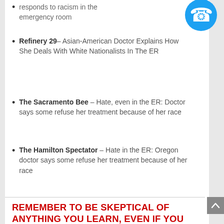responds to racism in the emergency room
Refinery 29– Asian-American Doctor Explains How She Deals With White Nationalists In The ER
The Sacramento Bee – Hate, even in the ER: Doctor says some refuse her treatment because of her race
The Hamilton Spectator – Hate in the ER: Oregon doctor says some refuse her treatment because of her race
REMEMBER TO BE SKEPTICAL OF ANYTHING YOU LEARN, EVEN IF YOU HEARD IT ON THE SKEPTICS' GUIDE TO EMERGENCY MEDICINE